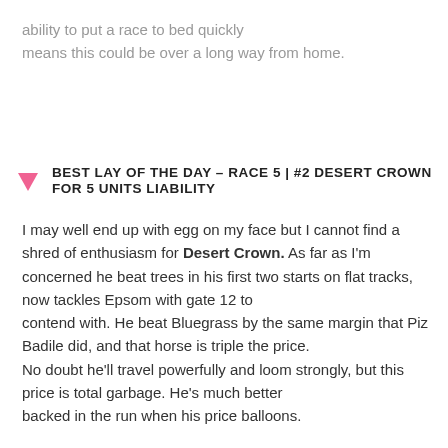ability to put a race to bed quickly means this could be over a long way from home.
BEST LAY OF THE DAY – RACE 5 | #2 DESERT CROWN FOR 5 UNITS LIABILITY
I may well end up with egg on my face but I cannot find a shred of enthusiasm for Desert Crown. As far as I'm concerned he beat trees in his first two starts on flat tracks, now tackles Epsom with gate 12 to contend with. He beat Bluegrass by the same margin that Piz Badile did, and that horse is triple the price. No doubt he'll travel powerfully and loom strongly, but this price is total garbage. He's much better backed in the run when his price balloons.